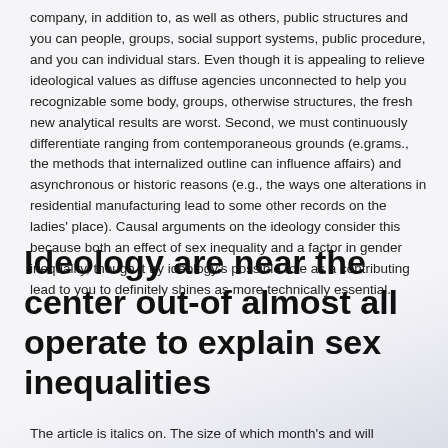company, in addition to, as well as others, public structures and you can people, groups, social support systems, public procedure, and you can individual stars. Even though it is appealing to relieve ideological values as diffuse agencies unconnected to help you recognizable some body, groups, otherwise structures, the fresh new analytical results are worst. Second, we must continuously differentiate ranging from contemporaneous grounds (e.grams., the methods that internalized outline can influence affairs) and asynchronous or historic reasons (e.g., the ways one alterations in residential manufacturing lead to some other records on the ladies' place). Causal arguments on the ideology consider this because both an effect of sex inequality and a factor in gender inequality, though it try ideology's possible role as a contributing lead to you to definitely shines as more technically essential.
Ideology are near the center out-of almost all operate to explain sex inequalities
The article is italics on. The size of which month's and will